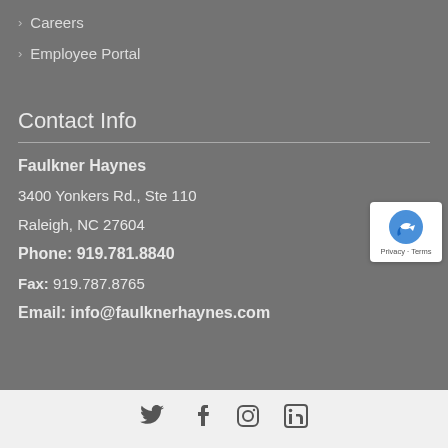> Careers
> Employee Portal
Contact Info
Faulkner Haynes
3400 Yonkers Rd., Ste 110
Raleigh, NC 27604
Phone: 919.781.8840
Fax: 919.787.8765
Email: info@faulknerhaynes.com
[Figure (other): Social media icons: Twitter, Facebook, Instagram, LinkedIn]
[Figure (other): reCAPTCHA Privacy - Terms badge]